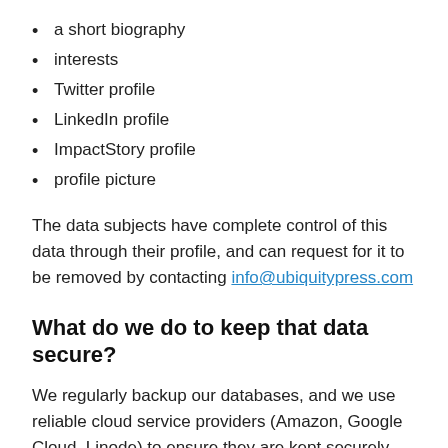a short biography
interests
Twitter profile
LinkedIn profile
ImpactStory profile
profile picture
The data subjects have complete control of this data through their profile, and can request for it to be removed by contacting info@ubiquitypress.com
What do we do to keep that data secure?
We regularly backup our databases, and we use reliable cloud service providers (Amazon, Google Cloud, Linode) to ensure they are kept securely. Backups are regularly rotated and the old data is permanently deleted. We have a clear internal data handling policy, restricting access to the data and backups to key employees only. In case of a data